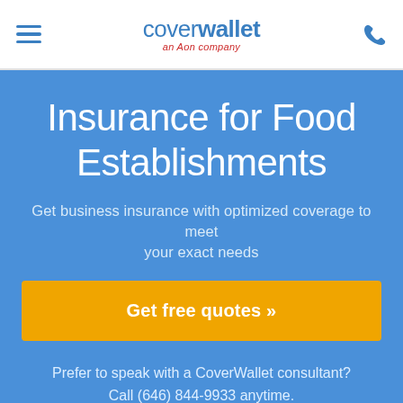coverwallet an Aon company
Insurance for Food Establishments
Get business insurance with optimized coverage to meet your exact needs
Get free quotes »
Prefer to speak with a CoverWallet consultant? Call (646) 844-9933 anytime.